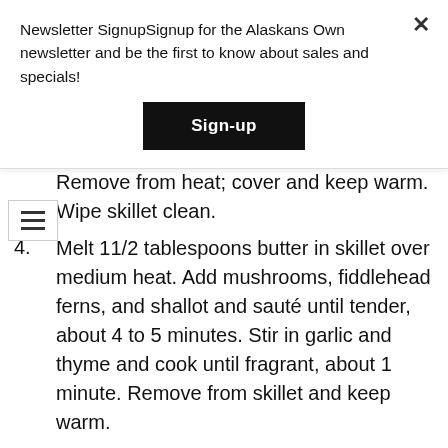Newsletter SignupSignup for the Alaskans Own newsletter and be the first to know about sales and specials!
Sign-up
Remove from heat; cover and keep warm. Wipe skillet clean.
4. Melt 11/2 tablespoons butter in skillet over medium heat. Add mushrooms, fiddlehead ferns, and shallot and sauté until tender, about 4 to 5 minutes. Stir in garlic and thyme and cook until fragrant, about 1 minute. Remove from skillet and keep warm.
5. Melt remaining 3 tablespoons butter in skillet over medium low heat, swirling pan often until golden brown and fragrant, about 3 minutes. Sprinkle 11/2 tablespoons dukkah spice into...